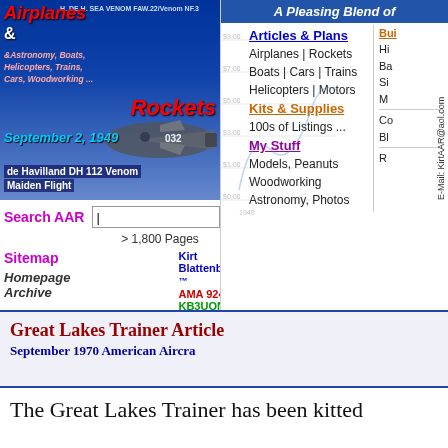[Figure (screenshot): Airplanes & Rockets website banner with aircraft image, dated September 2, 1949, de Havilland DH 112 Venom Maiden Flight]
Search AAR
> 1,800 Pages
Sitemap
Kirt Blattenberger ™
AMA 92498 | KB3UON
Homepage Archive
A Pleasing Blend of
Articles & Plans
Airplanes | Rockets
Boats | Cars | Trains
Helicopters | Motors
Kits & Supplies
100s of Listings ...
My Stuff
Models, Peanuts
Woodworking
Astronomy, Photos
Great Lakes Trainer Article
September 1970 American Aircra
The Great Lakes Trainer has been kitted